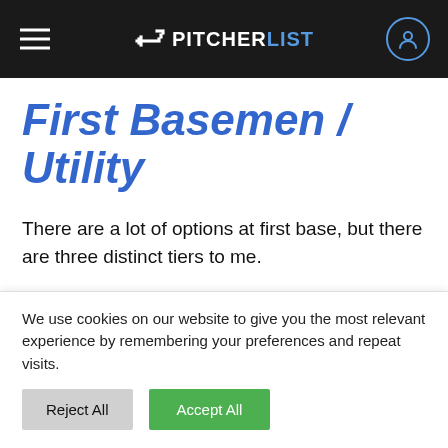PITCHERLIST
First Basemen / Utility
There are a lot of options at first base, but there are three distinct tiers to me.
1. Vladimir Guerrero Jr./Freddie Freeman — Vlad is in yet another stellar
We use cookies on our website to give you the most relevant experience by remembering your preferences and repeat visits.